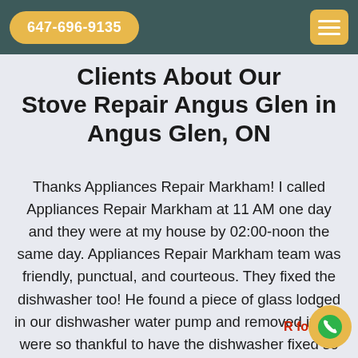647-696-9135 [navigation bar with hamburger menu]
Clients About Our Stove Repair Angus Glen in Angus Glen, ON
Thanks Appliances Repair Markham! I called Appliances Repair Markham at 11 AM one day and they were at my house by 02:00-noon the same day. Appliances Repair Markham team was friendly, punctual, and courteous. They fixed the dishwasher too! He found a piece of glass lodged in our dishwasher water pump and removed it. We were so thankful to have the dishwasher fixed so that